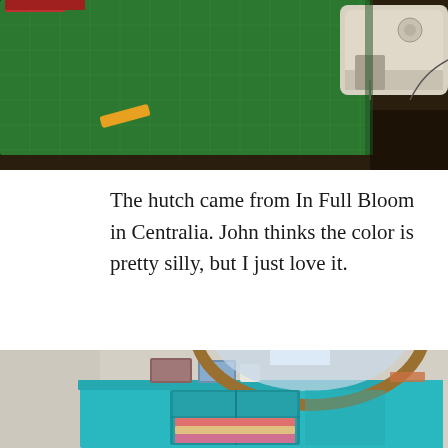[Figure (photo): A sewing room with a green cutting mat on a wooden table and a white sewing machine in the upper right corner.]
The hutch came from In Full Bloom in Centralia. John thinks the color is pretty silly, but I just love it.
[Figure (photo): A teal/turquoise painted hutch cabinet with a decorative ornate gold-framed mirror on top, items stored on top and inside the cabinet with glass doors.]